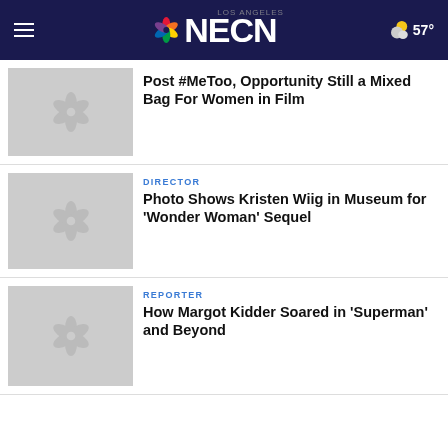NECN — LOS ANGELES — 57°
[Figure (photo): NBC peacock logo placeholder thumbnail for article 1]
Post #MeToo, Opportunity Still a Mixed Bag For Women in Film
[Figure (photo): NBC peacock logo placeholder thumbnail for article 2]
DIRECTOR
Photo Shows Kristen Wiig in Museum for 'Wonder Woman' Sequel
[Figure (photo): NBC peacock logo placeholder thumbnail for article 3]
REPORTER
How Margot Kidder Soared in 'Superman' and Beyond